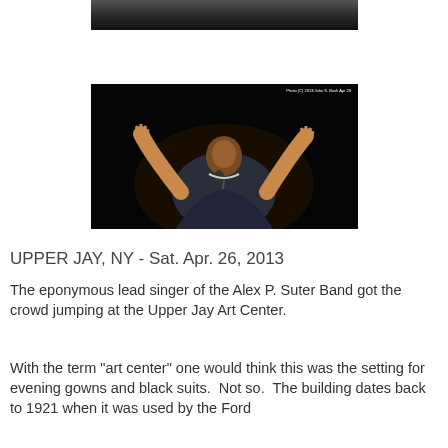[Figure (photo): Partial top edge of a concert photo showing performers on a dark stage]
[Figure (photo): A singer performing on stage with arms raised, wearing a dark robe, singing into a microphone in a dark venue. Watermark reads: Photo (C) 2013 John S. Bush Apr 26]
UPPER JAY, NY - Sat. Apr. 26, 2013
The eponymous lead singer of the Alex P. Suter Band got the crowd jumping at the Upper Jay Art Center.
With the term "art center" one would think this was the setting for evening gowns and black suits.  Not so.  The building dates back to 1921 when it was used by the Ford